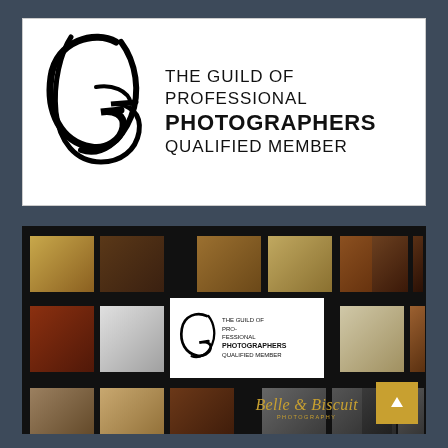[Figure (logo): The Guild of Professional Photographers Qualified Member logo - large stylized cursive G with text to the right: THE GUILD OF PROFESSIONAL PHOTOGRAPHERS QUALIFIED MEMBER]
[Figure (photo): A collage/portfolio page showing multiple dog and portrait photographs on a dark background, with the Guild of Professional Photographers Qualified Member logo in the center, and 'Belle & Biscuit Photography' branding at the bottom right]